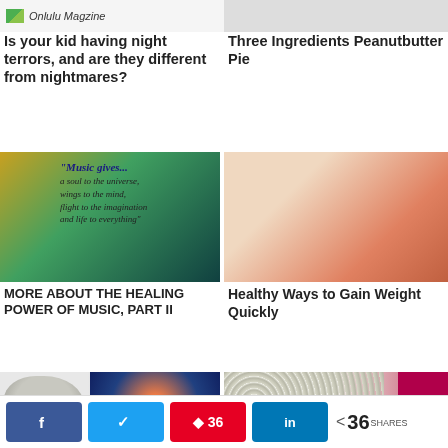Onlulu Magzine
Is your kid having night terrors, and are they different from nightmares?
Three Ingredients Peanutbutter Pie
[Figure (photo): Music quote illustration: 'Music gives... a soul to the universe, wings to the mind, flight to the imagination and life to everything']
[Figure (photo): Photo of person with tape measure around waist and person eating a large sandwich]
MORE ABOUT THE HEALING POWER OF MUSIC, PART II
Healthy Ways to Gain Weight Quickly
[Figure (photo): Brain illustration and glowing brain scan image]
[Figure (illustration): Grape vine illustration with glass of grapes]
36 SHARES — Facebook, Twitter, Pinterest (36), LinkedIn, share icon